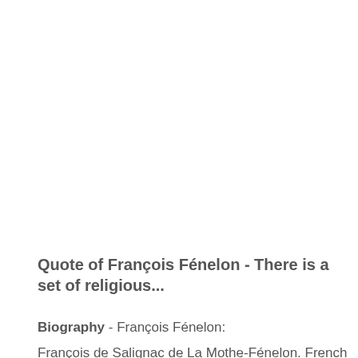Quote of François Fénelon - There is a set of religious...
Biography - François Fénelon: François de Salignac de La Mothe-Fénelon. French Roman Catholic archbishop, theologian, poet and writer.